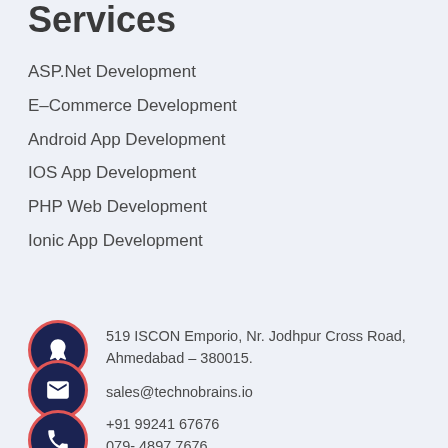Services
ASP.Net Development
E-Commerce Development
Android App Development
IOS App Development
PHP Web Development
Ionic App Development
519 ISCON Emporio, Nr. Jodhpur Cross Road, Ahmedabad – 380015.
sales@technobrains.io
+91 99241 67676
079- 4897 7676